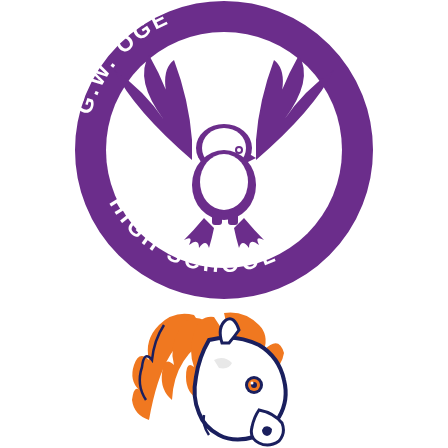[Figure (logo): G.W. [Bridge] High School circular logo in purple, featuring an eagle with spread wings in the center, with text 'HIGH SCHOOL' along the bottom arc of the circle]
[Figure (logo): Mustang horse head mascot logo with orange mane and white face, outlined in dark navy/dark blue, with an orange eye]